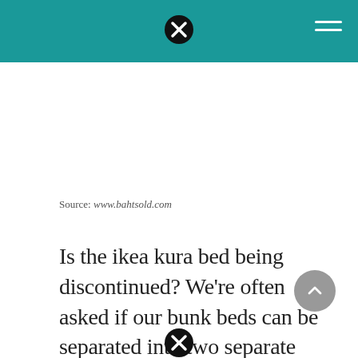Source: www.bahtsold.com
Is the ikea kura bed being discontinued? We're often asked if our bunk beds can be separated into two separate beds.